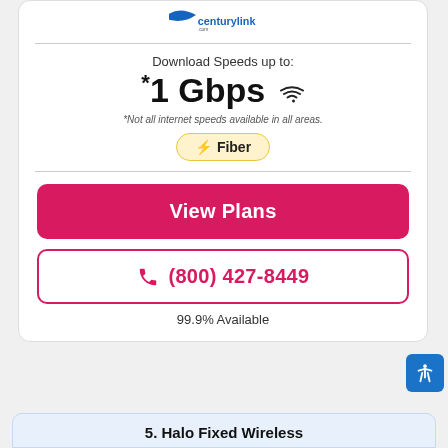[Figure (logo): CenturyLink / centurylink.com logo with blue swoosh]
Download Speeds up to:
*1 Gbps
*Not all internet speeds available in all areas.
⚡ Fiber
View Plans
☎ (800) 427-8449
99.9% Available
5. Halo Fixed Wireless